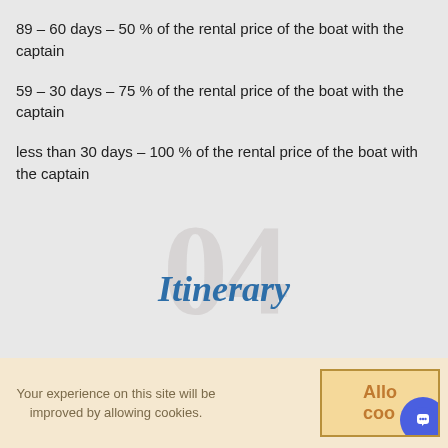89 – 60 days – 50 % of the rental price of the boat with the captain
59 – 30 days – 75 % of the rental price of the boat with the captain
less than 30 days – 100 % of the rental price of the boat with the captain
Itinerary
Your experience on this site will be improved by allowing cookies.
Allow cookies